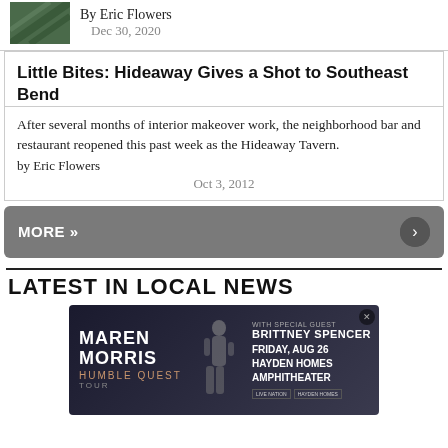By Eric Flowers
Dec 30, 2020
Little Bites: Hideaway Gives a Shot to Southeast Bend
After several months of interior makeover work, the neighborhood bar and restaurant reopened this past week as the Hideaway Tavern.
by Eric Flowers
Oct 3, 2012
MORE »
LATEST IN LOCAL NEWS
[Figure (photo): Advertisement banner for Maren Morris Humble Quest Tour with special guest Brittney Spencer, Friday Aug 26, Hayden Homes Amphitheater]